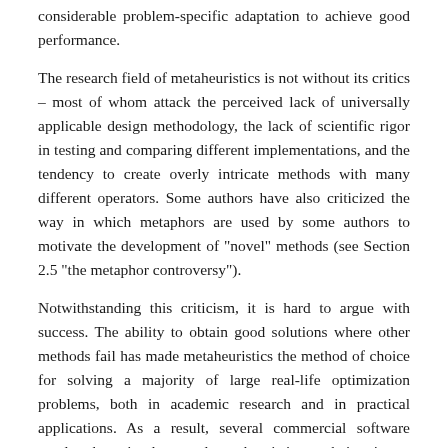considerable problem-specific adaptation to achieve good performance.
The research field of metaheuristics is not without its critics – most of whom attack the perceived lack of universally applicable design methodology, the lack of scientific rigor in testing and comparing different implementations, and the tendency to create overly intricate methods with many different operators. Some authors have also criticized the way in which metaphors are used by some authors to motivate the development of "novel" methods (see Section 2.5 "the metaphor controversy").
Notwithstanding this criticism, it is hard to argue with success. The ability to obtain good solutions where other methods fail has made metaheuristics the method of choice for solving a majority of large real-life optimization problems, both in academic research and in practical applications. As a result, several commercial software vendors have implemented metaheuristics as their primary optimization engines, both in specialized software packages for production scheduling, vehicle routing (Sörensen et al., 2008) and nurse rostering (Burke et al., 2004) as well as in general-purpose optimization and simulation packages (April et al., 2003, Fu, 2002, Glover et al., 1999).